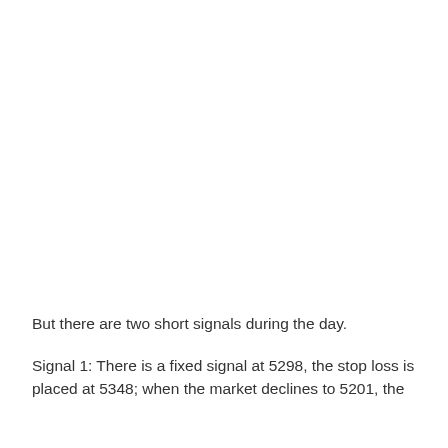But there are two short signals during the day.
Signal 1: There is a fixed signal at 5298, the stop loss is placed at 5348; when the market declines to 5201, the